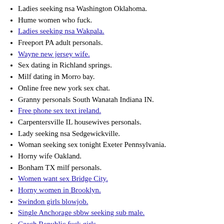Ladies seeking nsa Washington Oklahoma.
Hume women who fuck.
Ladies seeking nsa Wakpala.
Freeport PA adult personals.
Wayne new jersey wife.
Sex dating in Richland springs.
Milf dating in Morro bay.
Online free new york sex chat.
Granny personals South Wanatah Indiana IN.
Free phone sex text ireland.
Carpentersville IL housewives personals.
Lady seeking nsa Sedgewickville.
Woman seeking sex tonight Exeter Pennsylvania.
Horny wife Oakland.
Bonham TX milf personals.
Women want sex Bridge City.
Horny women in Brooklyn.
Swindon girls blowjob.
Single Anchorage sbbw seeking sub male.
Czech Republic fuck girls.
Meet women in north dakota.
Anyone wanna chat take a Tampa Florida.
Sex Clubs groups in Minneapolis